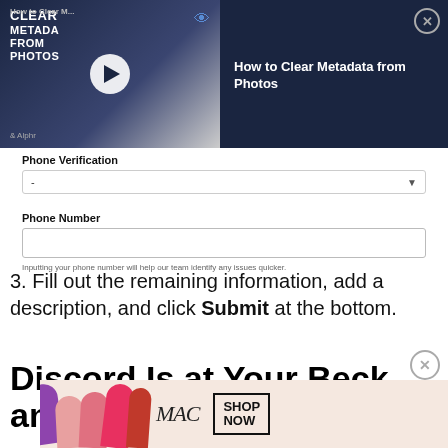[Figure (screenshot): Video overlay banner for 'How to Clear Metadata from Photos' showing a thumbnail with a play button and the video title on the right, with a close (X) button.]
Phone Verification
-
Phone Number
Inputting your phone number will help our team identify any issues quicker.
3. Fill out the remaining information, add a description, and click Submit at the bottom.
Discord Is at Your Beck and Call
[Figure (photo): MAC cosmetics advertisement banner showing lipsticks, MAC logo, and SHOP NOW button.]